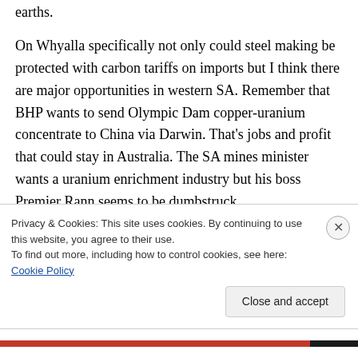earths.
On Whyalla specifically not only could steel making be protected with carbon tariffs on imports but I think there are major opportunities in western SA. Remember that BHP wants to send Olympic Dam copper-uranium concentrate to China via Darwin. That's jobs and profit that could stay in Australia. The SA mines minister wants a uranium enrichment industry but his boss Premier Rann seems to be dumbstruck
Privacy & Cookies: This site uses cookies. By continuing to use this website, you agree to their use.
To find out more, including how to control cookies, see here: Cookie Policy